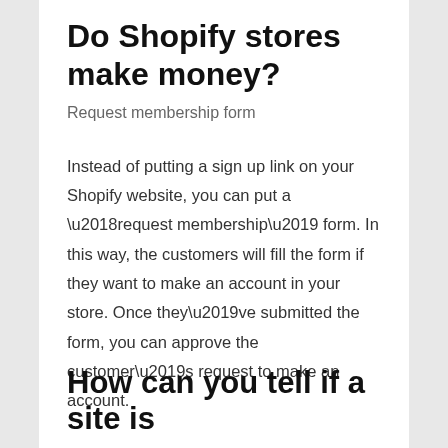Do Shopify stores make money?
Request membership form
Instead of putting a sign up link on your Shopify website, you can put a ‘request membership’ form. In this way, the customers will fill the form if they want to make an account in your store. Once they’ve submitted the form, you can approve the customer’s request to make an account.
How can you tell if a site is